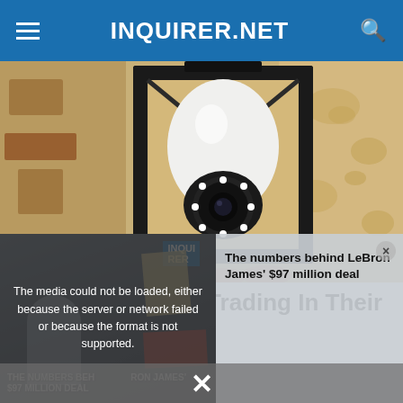INQUIRER.NET
[Figure (photo): A security camera shaped like a light bulb installed in an outdoor black metal lantern fixture mounted on a stucco wall]
Homeowners Are Trading In Their Doorbell
[Figure (screenshot): Video player overlay showing error message: The media could not be loaded, either because the server or network failed or because the format is not supported. Background shows partial image of LeBron James with text THE NUMBERS BEHIND LEBRON JAMES $97 MILLION DEAL. Right side shows text: The numbers behind LeBron James $97 million deal. Close button (x) in corner.]